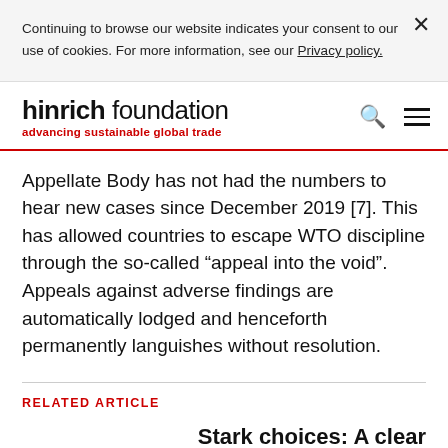Continuing to browse our website indicates your consent to our use of cookies. For more information, see our Privacy policy.
hinrich foundation — advancing sustainable global trade
Appellate Body has not had the numbers to hear new cases since December 2019 [7]. This has allowed countries to escape WTO discipline through the so-called “appeal into the void”. Appeals against adverse findings are automatically lodged and henceforth permanently languishes without resolution.
RELATED ARTICLE
Stark choices: A clear agenda to save the WTO